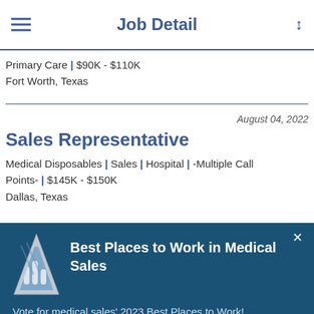Job Detail
Primary Care | $90K - $110K
Fort Worth, Texas
August 04, 2022
Sales Representative
Medical Disposables | Sales | Hospital | -Multiple Call Points- | $145K - $150K
Dallas, Texas
[Figure (infographic): Modal popup with a 'Best Places to Work in Medical Sales' award trophy icon on a dark blue background, with a 'Vote Now' button and a close button.]
Best Places to Work in Medical Sales
Vote for medical sales' 2023 Best Places to Work!
Vote Now